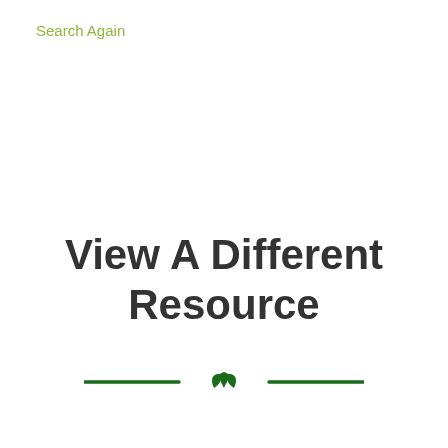Search Again
View A Different Resource
[Figure (illustration): Decorative divider with two horizontal green lines flanking a green leaf/plant icon in the center]